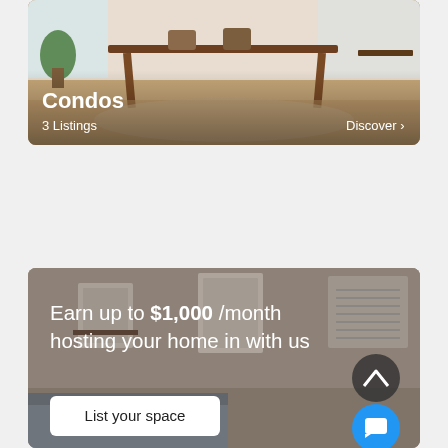[Figure (photo): Dining room interior photo showing a wooden dining table with brown chairs on a hardwood floor, with a plant in the corner and bright windows. Overlaid text shows 'Condos', '3 Listings', and 'Discover >']
Condos
3 Listings
Discover >
[Figure (photo): Interior room photo with framed art on walls and a bed visible. Overlaid text reads 'Earn up to $1,000 /month hosting your home in with us' with a 'List your space' button, a scroll-up arrow button, and a chat button.]
Earn up to $1,000 /month hosting your home in with us
List your space